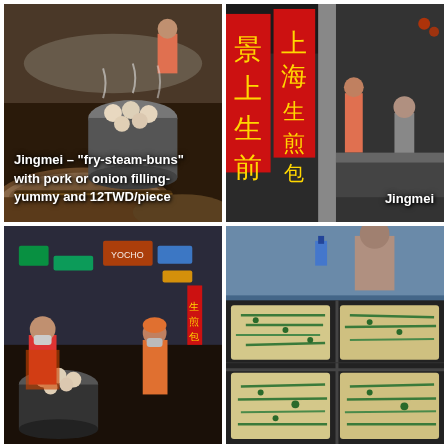[Figure (photo): Jingmei night market food stall showing large bamboo steamers with fry-steam-buns (sheng jian bao), workers in orange aprons in background. Text overlay: Jingmei – "fry-steam-buns" with pork or onion filling- yummy and 12TWD/piece]
[Figure (photo): Jingmei food stall exterior at night showing Chinese signage for Shanghai sheng jian bao, workers in orange uniforms. Text overlay: Jingmei]
[Figure (photo): Jingmei night market scene showing workers in orange aprons and masks filling large pots with dumplings, neon signs of city visible in background]
[Figure (photo): Close-up of flat cooking surface with green onion pancakes/scallion egg omelettes arranged in a grid on a dark griddle]